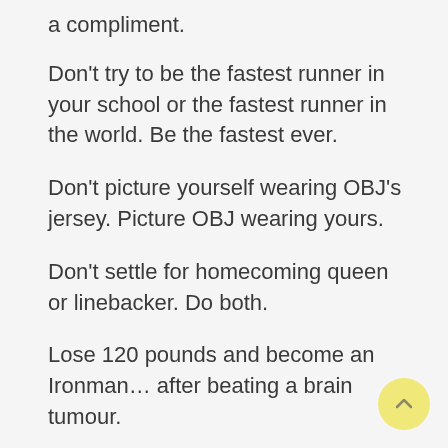a compliment.
Don't try to be the fastest runner in your school or the fastest runner in the world. Be the fastest ever.
Don't picture yourself wearing OBJ's jersey. Picture OBJ wearing yours.
Don't settle for homecoming queen or linebacker. Do both.
Lose 120 pounds and become an Ironman… after beating a brain tumour.
Don't believe you have to be like anybody…to